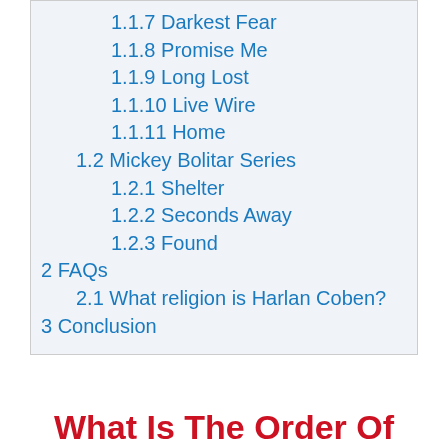1.1.7 Darkest Fear
1.1.8 Promise Me
1.1.9 Long Lost
1.1.10 Live Wire
1.1.11 Home
1.2 Mickey Bolitar Series
1.2.1 Shelter
1.2.2 Seconds Away
1.2.3 Found
2 FAQs
2.1 What religion is Harlan Coben?
3 Conclusion
What Is The Order Of